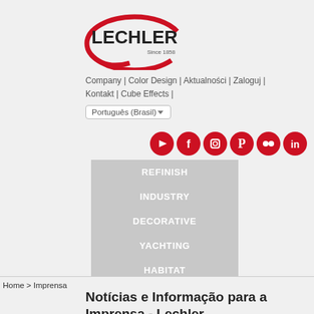[Figure (logo): Lechler logo with red swoosh and text 'LECHLER Since 1858']
Company | Color Design | Aktualności | Zaloguj | Kontakt | Cube Effects |
Português (Brasil) ▾
[Figure (infographic): Social media icons: YouTube, Facebook, Instagram, Pinterest, Flickr, LinkedIn — all red circles]
REFINISH
INDUSTRY
DECORATIVE
YACHTING
HABITAT
Home > Imprensa
Notícias e Informação para a Imprensa - Lechler